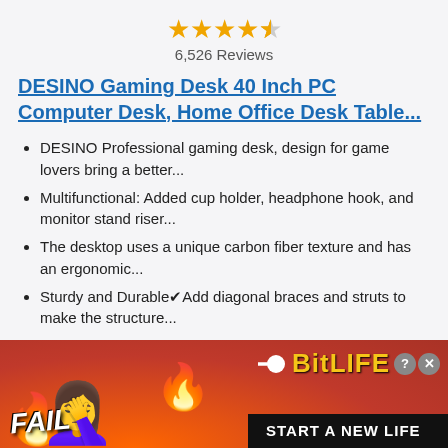[Figure (other): Star rating showing 4.5 out of 5 stars in gold]
6,526 Reviews
DESINO Gaming Desk 40 Inch PC Computer Desk, Home Office Desk Table...
DESINO Professional gaming desk, design for game lovers bring a better...
Multifunctional: Added cup holder, headphone hook, and monitor stand riser...
The desktop uses a unique carbon fiber texture and has an ergonomic...
Sturdy and Durable✔Add diagonal braces and struts to make the structure...
[Figure (logo): Amazon Prime badge with checkmark]
[Figure (other): Buy on Amazon button with Amazon logo]
[Figure (infographic): BitLife advertisement banner with FAIL text, emoji, flames, sperm icon, BitLife logo, and START A NEW LIFE text]